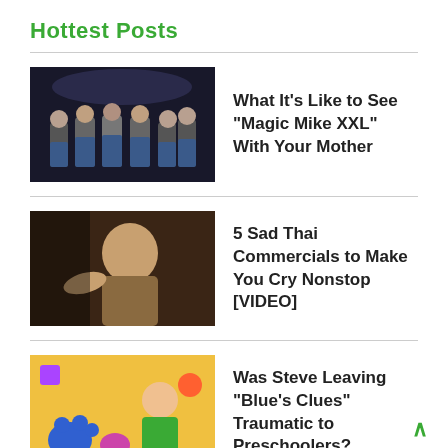Hottest Posts
What It's Like to See "Magic Mike XXL" With Your Mother
5 Sad Thai Commercials to Make You Cry Nonstop [VIDEO]
Was Steve Leaving "Blue's Clues" Traumatic to Preschoolers?
21 Reasons Why This Movie Sucks